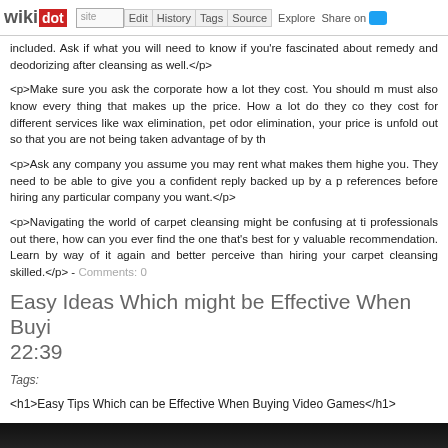wikidot | site Edit History Tags Source Explore Share on Twitter
<p>included. Ask if what you will need to know if you're fascinated about remedy and deodorizing after cleansing as well.</p>
<p>Make sure you ask the corporate how a lot they cost. You should must also know every thing that makes up the price. How a lot do they cost for different services like wax elimination, pet odor elimination, your price is unfold out so that you are not being taken advantage of by th
<p>Ask any company you assume you may rent what makes them higher you. They need to be able to give you a confident reply backed up by a p references before hiring any particular company you want.</p>
<p>Navigating the world of carpet cleansing might be confusing at ti professionals out there, how can you ever find the one that's best for y valuable recommendation. Learn by way of it again and better perceive than hiring your carpet cleansing skilled.</p> - Comments: 0
Easy Ideas Which might be Effective When Buying  22:39
Tags:
<h1>Easy Tips Which can be Effective When Buying Video Games</h1>
[Figure (photo): Dark blurry image, appears to be a photo with light text, partially visible at bottom of page]